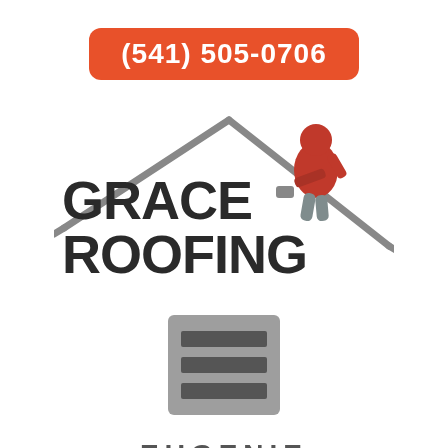(541) 505-0706
[Figure (logo): Grace Roofing logo with roof outline and red roofer worker on roof, company name GRACE ROOFING in bold dark text]
[Figure (other): Hamburger menu icon with three horizontal bars on gray square background]
EUGENIE